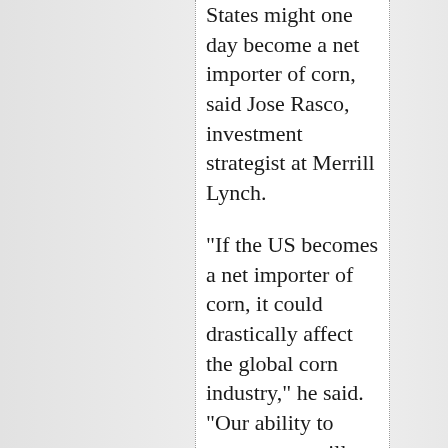States might one day become a net importer of corn, said Jose Rasco, investment strategist at Merrill Lynch.
"If the US becomes a net importer of corn, it could drastically affect the global corn industry," he said. "Our ability to export corn will probably be